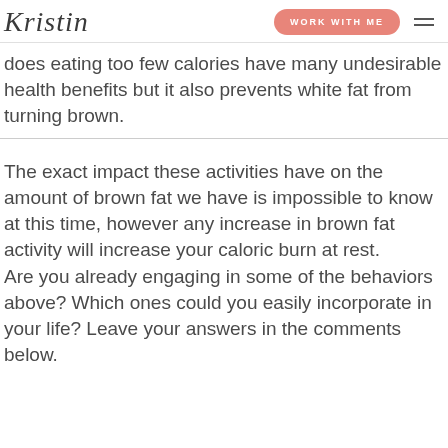Kristin | WORK WITH ME
does eating too few calories have many undesirable health benefits but it also prevents white fat from turning brown.
The exact impact these activities have on the amount of brown fat we have is impossible to know at this time, however any increase in brown fat activity will increase your caloric burn at rest. Are you already engaging in some of the behaviors above? Which ones could you easily incorporate in your life? Leave your answers in the comments below.